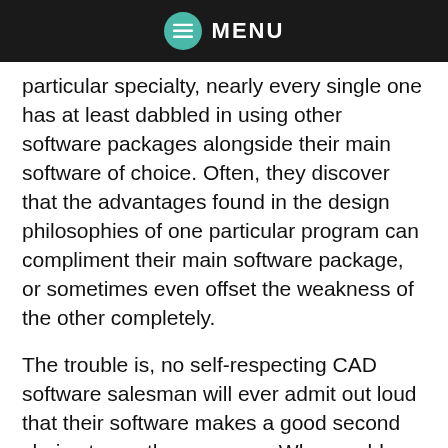MENU
particular specialty, nearly every single one has at least dabbled in using other software packages alongside their main software of choice. Often, they discover that the advantages found in the design philosophies of one particular program can compliment their main software package, or sometimes even offset the weakness of the other completely.
The trouble is, no self-respecting CAD software salesman will ever admit out loud that their software makes a good second choice to another program. Who can blame them? It's not in their interest to start toting their main flagship as secondary to anything.
However, it makes sense that a good craftsman will always look for new and more efficient ways of get your job done, and sometimes this can come from finding